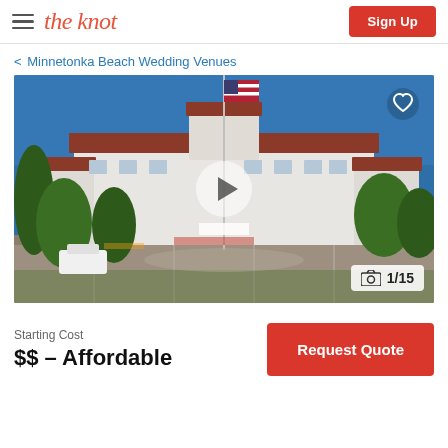the knot | Sign Up
< Minnetonka Beach Wedding Venues
[Figure (photo): Aerial/elevated photo of a large white resort-style building with red-tiled roof, American flag on a tall flagpole, surrounded by trees and a parking lot, under a clear blue sky. A video play button overlay is centered. A heart/favorite icon appears top-right. A photo counter shows 1/15.]
Starting Cost
$$ – Affordable
Request Quote